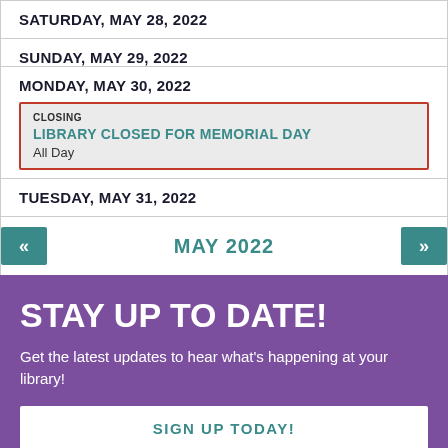SATURDAY, MAY 28, 2022
SUNDAY, MAY 29, 2022
MONDAY, MAY 30, 2022
CLOSING
LIBRARY CLOSED FOR MEMORIAL DAY
All Day
TUESDAY, MAY 31, 2022
MAY 2022
STAY UP TO DATE!
Get the latest updates to hear what's happening at your library!
SIGN UP TODAY!